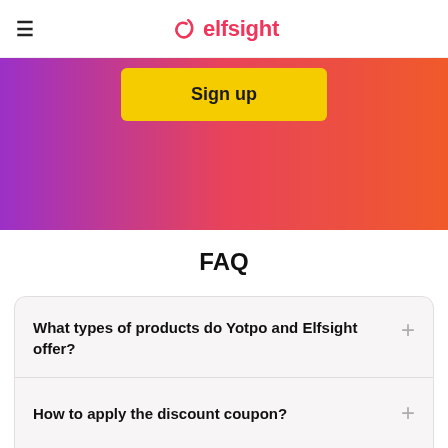≡ elfsight
[Figure (other): Purple to red-orange gradient banner background with a yellow 'Sign up' button]
FAQ
What types of products do Yotpo and Elfsight offer?
How to apply the discount coupon?